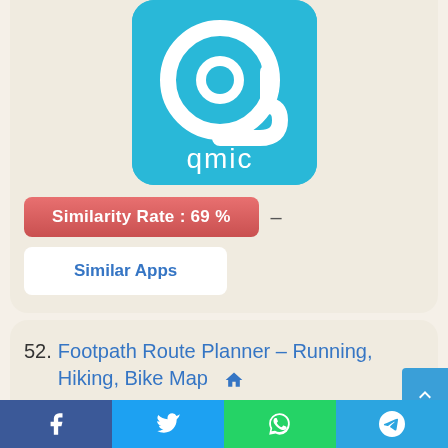[Figure (logo): Qmic app icon: blue rounded square with white '@w' style logo and 'qmic' text below]
Similarity Rate : 69 %
Similar Apps
52. Footpath Route Planner – Running, Hiking, Bike Map
Trace the map with your finger and the pedestrian walkway will gravitate toward roads